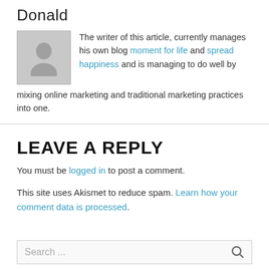Donald
The writer of this article, currently manages his own blog moment for life and spread happiness and is managing to do well by mixing online marketing and traditional marketing practices into one.
LEAVE A REPLY
You must be logged in to post a comment.
This site uses Akismet to reduce spam. Learn how your comment data is processed.
Search ...